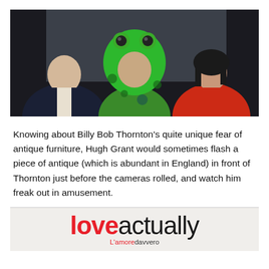[Figure (photo): Three people in a car: a man in a suit on the left, a child in the center wearing a green frog/alien costume, and a woman in a red jacket on the right]
Knowing about Billy Bob Thornton's quite unique fear of antique furniture, Hugh Grant would sometimes flash a piece of antique (which is abundant in England) in front of Thornton just before the cameras rolled, and watch him freak out in amusement.
[Figure (logo): Love Actually movie logo — 'love' in bold red and 'actually' in black, with tagline 'L'amore davvero' below]